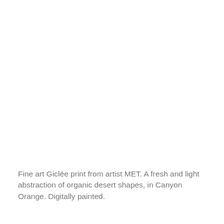Fine art Giclée print from artist MET. A fresh and light abstraction of organic desert shapes, in Canyon Orange. Digitally painted.